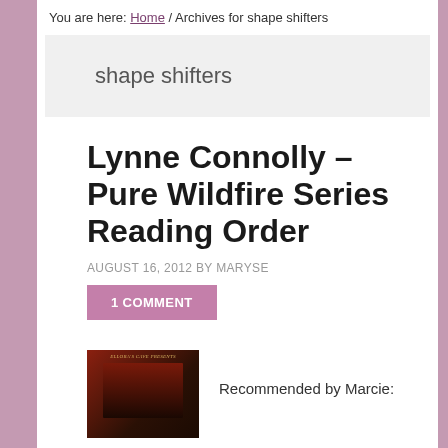You are here: Home / Archives for shape shifters
shape shifters
Lynne Connolly – Pure Wildfire Series Reading Order
AUGUST 16, 2012 BY MARYSE
1 COMMENT
[Figure (photo): Book cover with dark red/black background, Ellora's Cave Presents text at top]
Recommended by Marcie: